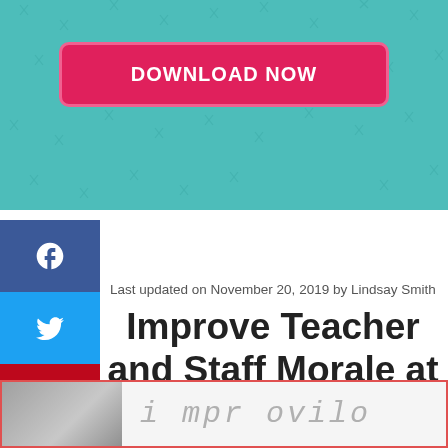[Figure (other): Teal decorative banner with geometric line pattern and a pink 'DOWNLOAD NOW' button]
[Figure (other): Social media share sidebar with Facebook, Twitter, Pinterest, and Email buttons]
Last updated on November 20, 2019 by Lindsay Smith
Improve Teacher and Staff Morale at Your School
[Figure (photo): Partial bottom image strip showing a person and handwritten-style text]